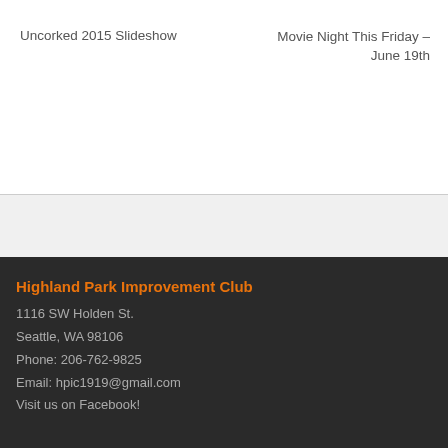Uncorked 2015 Slideshow
Movie Night This Friday – June 19th
Highland Park Improvement Club
1116 SW Holden St.
Seattle, WA 98106
Phone: 206-762-9825
Email: hpic1919@gmail.com
Visit us on Facebook!